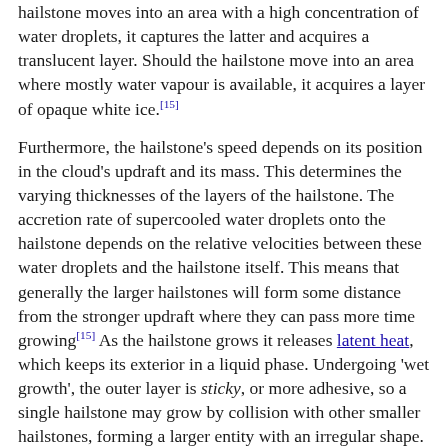hailstone moves into an area with a high concentration of water droplets, it captures the latter and acquires a translucent layer. Should the hailstone move into an area where mostly water vapour is available, it acquires a layer of opaque white ice.[15]
Furthermore, the hailstone's speed depends on its position in the cloud's updraft and its mass. This determines the varying thicknesses of the layers of the hailstone. The accretion rate of supercooled water droplets onto the hailstone depends on the relative velocities between these water droplets and the hailstone itself. This means that generally the larger hailstones will form some distance from the stronger updraft where they can pass more time growing[15] As the hailstone grows it releases latent heat, which keeps its exterior in a liquid phase. Undergoing 'wet growth', the outer layer is sticky, or more adhesive, so a single hailstone may grow by collision with other smaller hailstones, forming a larger entity with an irregular shape.[16]
The hailstone will keep rising in the thunderstorm until its mass can no longer be supported by the updraft. This may take at least 30 minutes based on the force of the updrafts in the hail-producing thunderstorm, whose top is usually greater than 10 kilometres (6.2 mi) high. It then falls toward the ground while continuing to grow, based on the same processes, until it leaves the cloud. It will later begin to melt as it passes into air above freezing